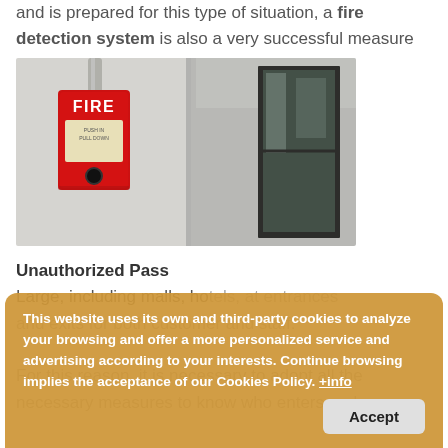and is prepared for this type of situation, a fire detection system is also a very successful measure to avoid these risks.
[Figure (photo): A red fire alarm pull station mounted on a white wall with a metal pipe above it (left half), and a glass door/window in a dark frame (right half).]
Unauthorized Pass
Large, including malls, hotels, at entrances and exits for both customer and staff.
For this reason, it is necessary to adopt all the necessary measures to know who enters and
This website uses its own and third-party cookies to analyze your browsing and offer a more personalized service and advertising according to your interests. Continue browsing implies the acceptance of our Cookies Policy. +info
Accept